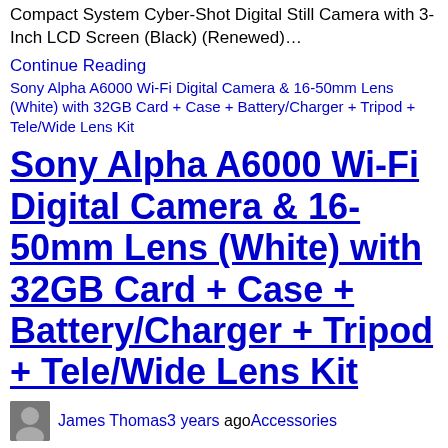Compact System Cyber-Shot Digital Still Camera with 3-Inch LCD Screen (Black) (Renewed)…
Continue Reading
[Figure (screenshot): Linked image placeholder for Sony Alpha A6000 Wi-Fi Digital Camera & 16-50mm Lens (White) with 32GB Card + Case + Battery/Charger + Tripod + Tele/Wide Lens Kit]
Sony Alpha A6000 Wi-Fi Digital Camera & 16-50mm Lens (White) with 32GB Card + Case + Battery/Charger + Tripod + Tele/Wide Lens Kit
James Thomas3 years ago Accessories
Sony White Camera: Sony Alpha A6000 Wi-Fi Digital Camera & 16-50mm Lens (White) with 32GB Card +